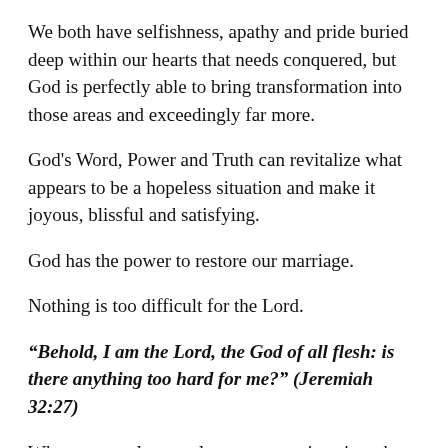We both have selfishness, apathy and pride buried deep within our hearts that needs conquered, but God is perfectly able to bring transformation into those areas and exceedingly far more.
God's Word, Power and Truth can revitalize what appears to be a hopeless situation and make it joyous, blissful and satisfying.
God has the power to restore our marriage.
Nothing is too difficult for the Lord.
“Behold, I am the Lord, the God of all flesh: is there anything too hard for me?” (Jeremiah 32:27)
When we resolve to release our marriage into the Lord’s faithful hands, that is when we can confidently declare that there is nothing too hard for those who put their